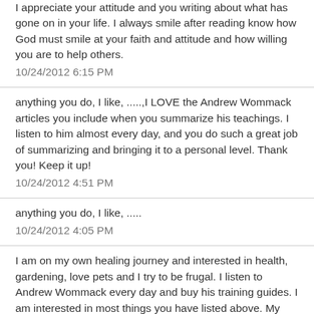I appreciate your attitude and you writing about what has gone on in your life. I always smile after reading know how God must smile at your faith and attitude and how willing you are to help others.
10/24/2012 6:15 PM
anything you do, I like, .....,I LOVE the Andrew Wommack articles you include when you summarize his teachings. I listen to him almost every day, and you do such a great job of summarizing and bringing it to a personal level. Thank you! Keep it up!
10/24/2012 4:51 PM
anything you do, I like, .....
10/24/2012 4:05 PM
I am on my own healing journey and interested in health, gardening, love pets and I try to be frugal. I listen to Andrew Wommack every day and buy his training guides. I am interested in most things you have listed above. My husband has some health problems, diabetes, 2 mechanical heart valves, and is on his 2nd pacemaker. I thank God for His healing promises (my husband doesn't